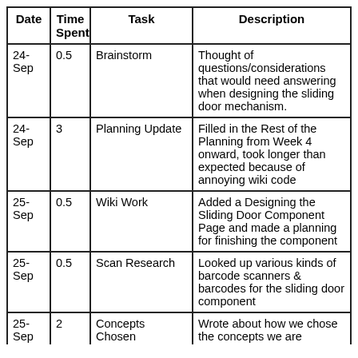| Date | Time Spent | Task | Description |
| --- | --- | --- | --- |
| 24-Sep | 0.5 | Brainstorm | Thought of questions/considerations that would need answering when designing the sliding door mechanism. |
| 24-Sep | 3 | Planning Update | Filled in the Rest of the Planning from Week 4 onward, took longer than expected because of annoying wiki code |
| 25-Sep | 0.5 | Wiki Work | Added a Designing the Sliding Door Component Page and made a planning for finishing the component |
| 25-Sep | 0.5 | Scan Research | Looked up various kinds of barcode scanners & barcodes for the sliding door component |
| 25-Sep | 2 | Concepts Chosen | Wrote about how we chose the concepts we are (cut off) |